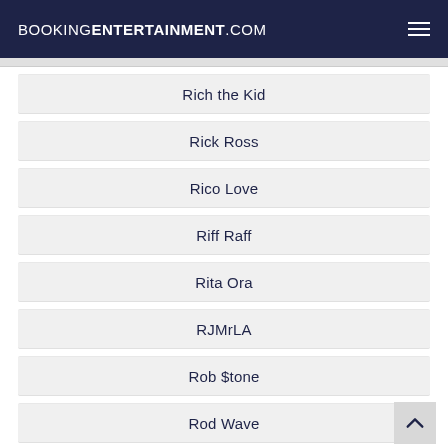BOOKINGENTERTAINMENT.COM
Rich the Kid
Rick Ross
Rico Love
Riff Raff
Rita Ora
RJMrLA
Rob $tone
Rod Wave
Roddy Ricch